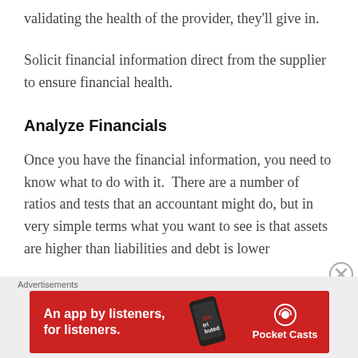validating the health of the provider, they'll give in.
Solicit financial information direct from the supplier to ensure financial health.
Analyze Financials
Once you have the financial information, you need to know what to do with it.  There are a number of ratios and tests that an accountant might do, but in very simple terms what you want to see is that assets are higher than liabilities and debt is lower than...
[Figure (other): Advertisement banner for Pocket Casts app: red background with bold white text 'An app by listeners, for listeners.' and Pocket Casts logo with podcast app phone graphic.]